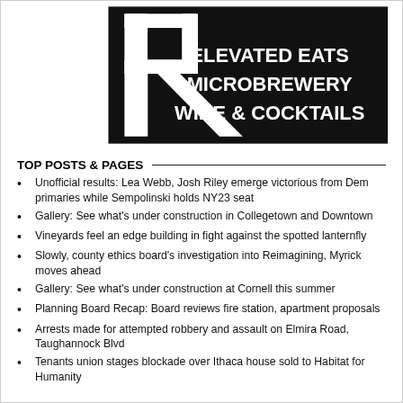[Figure (logo): Black square logo with large white letter R and white text: ELEVATED EATS / MICROBREWERY / WINE & COCKTAILS]
TOP POSTS & PAGES
Unofficial results: Lea Webb, Josh Riley emerge victorious from Dem primaries while Sempolinski holds NY23 seat
Gallery: See what's under construction in Collegetown and Downtown
Vineyards feel an edge building in fight against the spotted lanternfly
Slowly, county ethics board's investigation into Reimagining, Myrick moves ahead
Gallery: See what's under construction at Cornell this summer
Planning Board Recap: Board reviews fire station, apartment proposals
Arrests made for attempted robbery and assault on Elmira Road, Taughannock Blvd
Tenants union stages blockade over Ithaca house sold to Habitat for Humanity